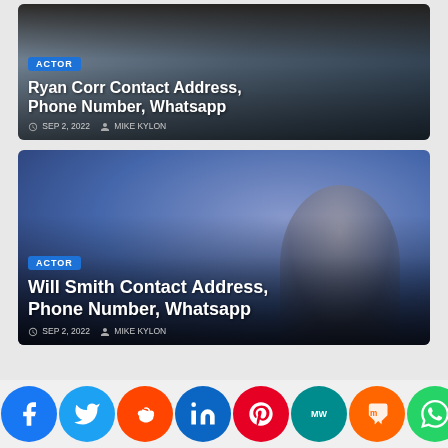[Figure (photo): Card with actor photo background - Ryan Corr, dark toned portrait]
Ryan Corr Contact Address, Phone Number, Whatsapp
SEP 2, 2022   MIKE KYLON
[Figure (photo): Card with actor photo background - Will Smith, smiling in suit against blue background]
Will Smith Contact Address, Phone Number, Whatsapp
SEP 2, 2022   MIKE KYLON
[Figure (infographic): Social media share buttons row: Facebook, Twitter, Reddit, LinkedIn, Pinterest, MeWe, Mix, WhatsApp, More]